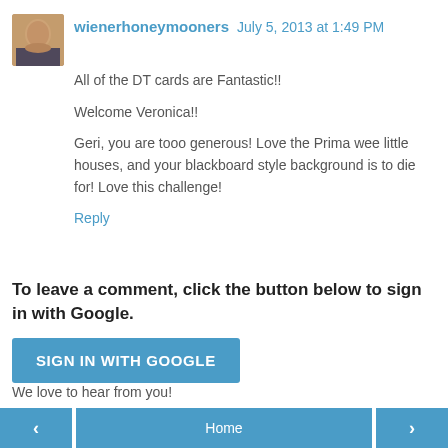wienerhoneymooners July 5, 2013 at 1:49 PM
All of the DT cards are Fantastic!!
Welcome Veronica!!
Geri, you are tooo generous! Love the Prima wee little houses, and your blackboard style background is to die for! Love this challenge!
Reply
To leave a comment, click the button below to sign in with Google.
SIGN IN WITH GOOGLE
We love to hear from you!
< Home >